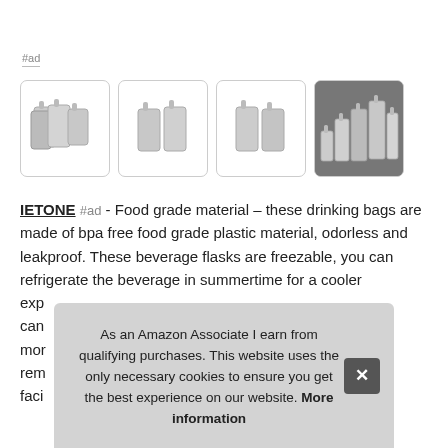#ad
[Figure (photo): Four product thumbnail images of silver/aluminum drinking pouches/flasks shown in groups, last image has dark background]
IETONE #ad - Food grade material – these drinking bags are made of bpa free food grade plastic material, odorless and leakproof. These beverage flasks are freezable, you can refrigerate the beverage in summertime for a cooler experience...
As an Amazon Associate I earn from qualifying purchases. This website uses the only necessary cookies to ensure you get the best experience on our website. More information